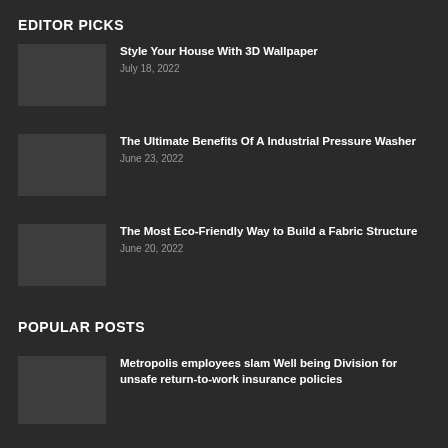EDITOR PICKS
Style Your House With 3D Wallpaper — July 18, 2022
The Ultimate Benefits Of A Industrial Pressure Washer — June 23, 2022
The Most Eco-Friendly Way to Build a Fabric Structure — June 20, 2022
POPULAR POSTS
Metropolis employees slam Well being Division for unsafe return-to-work insurance policies